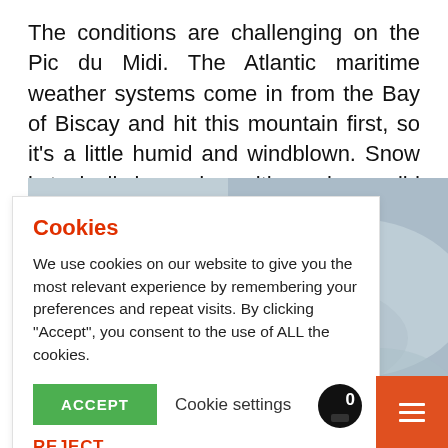The conditions are challenging on the Pic du Midi. The Atlantic maritime weather systems come in from the Bay of Biscay and hit this mountain first, so it's a little humid and windblown. Snow is typically icy and as with any large wild mountain, there is always a risk of avalanche.
[Figure (photo): Aerial or distant view of a snow-covered mountain slope, muted blue-grey tones, showing icy snowy terrain.]
Cookies
We use cookies on our website to give you the most relevant experience by remembering your preferences and repeat visits. By clicking "Accept", you consent to the use of ALL the cookies.
ACCEPT | Cookie settings
REJECT